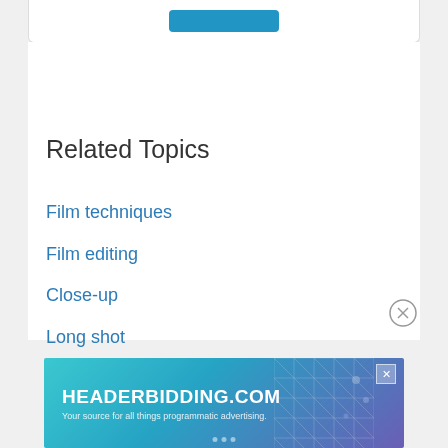[Figure (screenshot): Top portion of a card UI with a blue button partially visible at the top]
Related Topics
Film techniques
Film editing
Close-up
Long shot
[Figure (screenshot): Close (X) button circle in bottom right area]
[Figure (infographic): HEADERBIDDING.COM advertisement banner: 'Your source for all things programmatic advertising.' with teal/purple gradient background and geometric grid pattern]